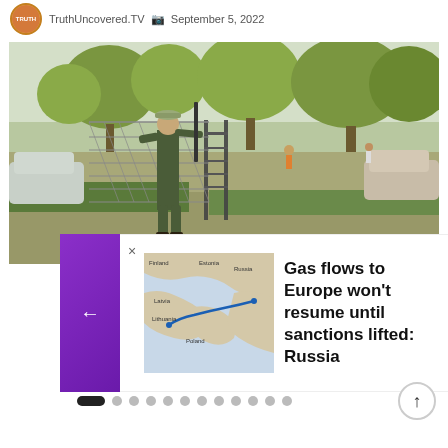TruthUncovered.TV · September 5, 2022
[Figure (photo): Armed soldier in camouflage uniform and hat standing at a metal gate/fence, with trees and vehicles in background on a sunny day]
[Figure (map): Map showing gas pipeline routes in Europe with blue line indicating pipeline path]
Gas flows to Europe won't resume until sanctions lifted: Russia